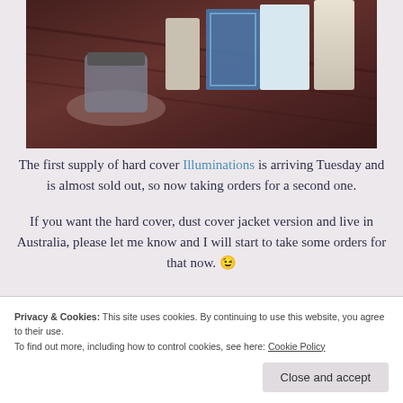[Figure (photo): Photo of books and candles on a dark wooden table, partially cropped at top]
The first supply of hard cover Illuminations is arriving Tuesday and is almost sold out, so now taking orders for a second one.
If you want the hard cover, dust cover jacket version and live in Australia, please let me know and I will start to take some orders for that now. 😉
Privacy & Cookies: This site uses cookies. By continuing to use this website, you agree to their use. To find out more, including how to control cookies, see here: Cookie Policy